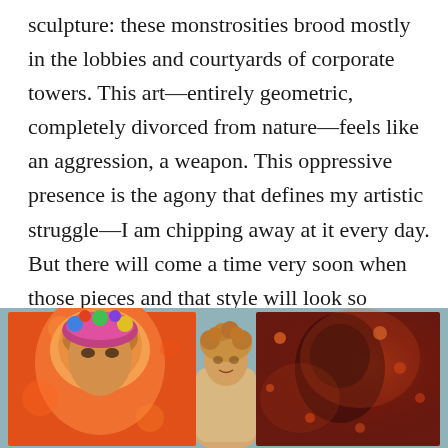sculpture: these monstrosities brood mostly in the lobbies and courtyards of corporate towers. This art—entirely geometric, completely divorced from nature—feels like an aggression, a weapon. This oppressive presence is the agony that defines my artistic struggle—I am chipping away at it every day. But there will come a time very soon when those pieces and that style will look so outdated. It will be the new kitsch, and it will remind us of the era when we were so disconnected from nature we almost destroyed it completely.
[Figure (photo): Photograph showing two large colorful paintings and a woman standing between them. Left painting features a face with vivid orange and warm tones. Right painting is darker with reddish cosmic tones. The woman has curly hair and stands in front of a teal/blue-gray wall.]